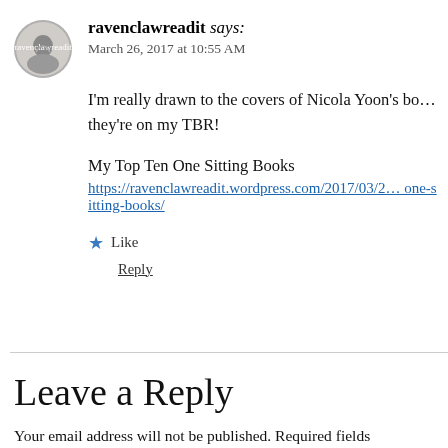[Figure (photo): Circular avatar image of ravenclawreadit user, grey tones with a bird/feather motif]
ravenclawreadit says:
March 26, 2017 at 10:55 AM
I'm really drawn to the covers of Nicola Yoon's bo… they're on my TBR!
My Top Ten One Sitting Books
https://ravenclawreadit.wordpress.com/2017/03/… one-sitting-books/
★ Like
Reply
Leave a Reply
Your email address will not be published. Required fields